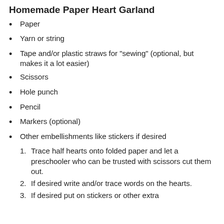Homemade Paper Heart Garland
Paper
Yarn or string
Tape and/or plastic straws for "sewing" (optional, but makes it a lot easier)
Scissors
Hole punch
Pencil
Markers (optional)
Other embellishments like stickers if desired
Trace half hearts onto folded paper and let a preschooler who can be trusted with scissors cut them out.
If desired write and/or trace words on the hearts.
If desired put on stickers or other extra